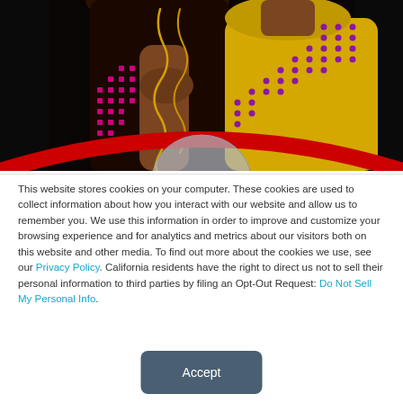[Figure (photo): Photo of two people against a black background, one wearing a yellow shirt with purple polka dots and the other with pink dots, with a gold wire/cord visible]
This website stores cookies on your computer. These cookies are used to collect information about how you interact with our website and allow us to remember you. We use this information in order to improve and customize your browsing experience and for analytics and metrics about our visitors both on this website and other media. To find out more about the cookies we use, see our Privacy Policy. California residents have the right to direct us not to sell their personal information to third parties by filing an Opt-Out Request: Do Not Sell My Personal Info.
Accept